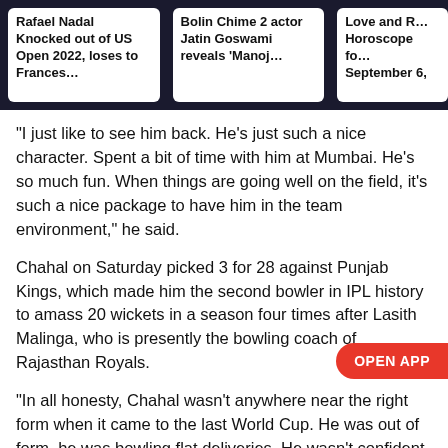[Figure (screenshot): Navigation bar with three news article cards on dark background: 'Rafael Nadal Knocked out of US Open 2022, loses to Frances…', 'Bolin Chime 2 actor Jatin Goswami reveals Manoj…', 'Love and R… Horoscope fo… September 6,']
“I just like to see him back. He’s just such a nice character. Spent a bit of time with him at Mumbai. He’s so much fun. When things are going well on the field, it’s such a nice package to have him in the team environment,” he said.
Chahal on Saturday picked 3 for 28 against Punjab Kings, which made him the second bowler in IPL history to amass 20 wickets in a season four times after Lasith Malinga, who is presently the bowling coach of Rajasthan Royals.
“In all honesty, Chahal wasn’t anywhere near the right form when it came to the last World Cup. He was out of form, he was bowling flat deliveries. He wasn’t confident to give it air. He had lost his mojo. That happens to you as individuals,” Pollack added.
Advertisement